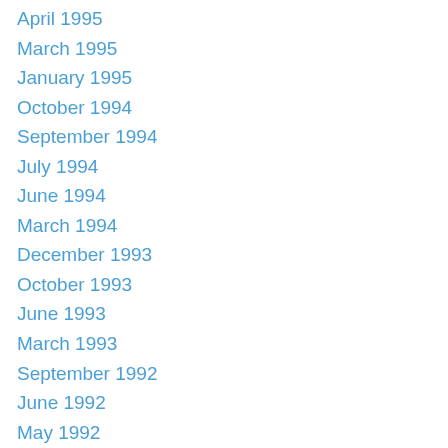April 1995
March 1995
January 1995
October 1994
September 1994
July 1994
June 1994
March 1994
December 1993
October 1993
June 1993
March 1993
September 1992
June 1992
May 1992
April 1992
December 1991
November 1991
September 1991
July 1991